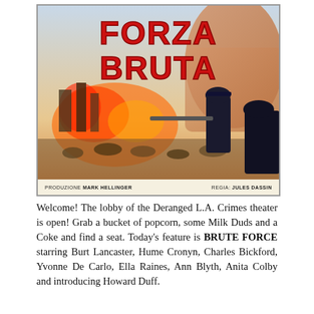[Figure (illustration): Italian movie poster for 'Forza Bruta' (Brute Force) showing large red text 'FORZA BRUTA' at top, a shirtless muscular torso in background, police/guards in dark uniforms firing weapons in foreground, and a chaotic battle scene with fire and crowds below. Bottom text reads 'PRODUZIONE MARK HELLINGER' on left and 'REGIA: JULES DASSIN' on right.]
Welcome! The lobby of the Deranged L.A. Crimes theater is open! Grab a bucket of popcorn, some Milk Duds and a Coke and find a seat. Today's feature is BRUTE FORCE starring Burt Lancaster, Hume Cronyn, Charles Bickford, Yvonne De Carlo, Ella Raines, Ann Blyth, Anita Colby and introducing Howard Duff.